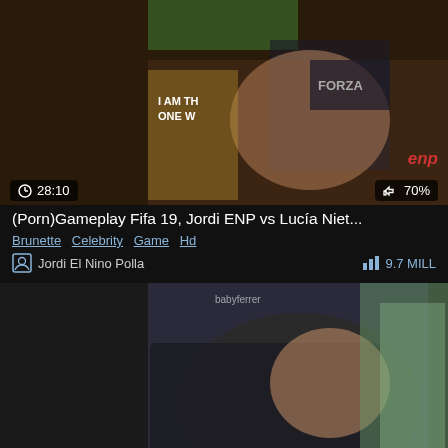[Figure (screenshot): Video thumbnail for Fifa 19 gameplay video with duration 28:10 and 70% likes]
(Porn)Gameplay Fifa 19, Jordi ENP vs Lucía Niet...
Brunette  Celebrity  Game  Hd
Jordi El Nino Polla   9.7 MILL
[Figure (screenshot): Video thumbnail for public bus video with duration 10:01 and 74% likes, watermark babyferrer]
Playing a Risky Game in a Public Bus just becau...
18  Amateur  Big tits  Bus  Fetish  Game  Hd  Latina